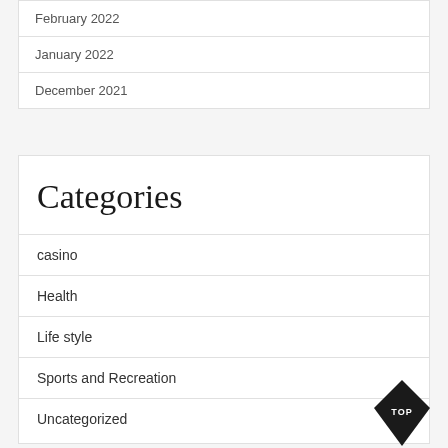February 2022
January 2022
December 2021
Categories
casino
Health
Life style
Sports and Recreation
Uncategorized
[Figure (other): Black diamond-shaped TOP button in the bottom right corner]